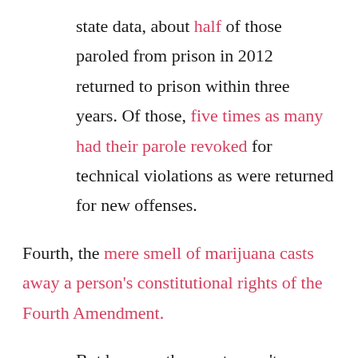state data, about half of those paroled from prison in 2012 returned to prison within three years. Of those, five times as many had their parole revoked for technical violations as were returned for new offenses.
Fourth, the mere smell of marijuana casts away a person's constitutional rights of the Fourth Amendment.
But because the courts won't typically second-guess the motives of police